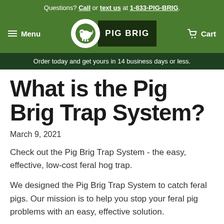Questions? Call or text us at 1-833-PIG-BRIG.
[Figure (logo): Pig Brig logo with navigation bar showing hamburger menu, circular pig logo, PIG BRIG text, and cart icon]
Order today and get yours in 14 business days or less.
What is the Pig Brig Trap System?
March 9, 2021
Check out the Pig Brig Trap System - the easy, effective, low-cost feral hog trap.
We designed the Pig Brig Trap System to catch feral pigs. Our mission is to help you stop your feral pig problems with an easy, effective solution.